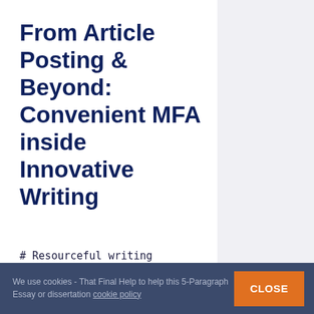From Article Posting & Beyond: Convenient MFA inside Innovative Writing
# Resourceful writing
   a schema:Intangible ;
schema:name "Creative writing"@en ;

   .
We use cookies - That Final Help to help this 5-Paragraph Essay or dissertation cookie policy  CLOSE